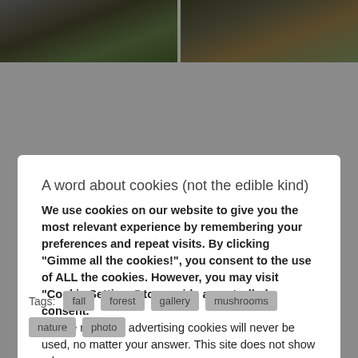[Figure (photo): Two side-by-side nature photos (mushrooms in forest) partially visible at the top of the page]
A word about cookies (not the edible kind)
We use cookies on our website to give you the most relevant experience by remembering your preferences and repeat visits. By clicking “Gimme all the cookies!”, you consent to the use of ALL the cookies. However, you may visit "Cookie Settings" to provide a controlled consent.
Please note that advertising cookies will never be used, no matter your answer. This site does not show ads.
Cookie Settings
Gimme all the cookies!
Tags:  fall  forest  gallery  mushrooms  nature  photo